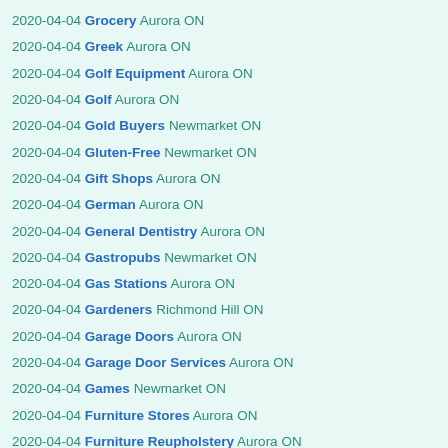2020-04-04 Grocery Aurora ON
2020-04-04 Greek Aurora ON
2020-04-04 Golf Equipment Aurora ON
2020-04-04 Golf Aurora ON
2020-04-04 Gold Buyers Newmarket ON
2020-04-04 Gluten-Free Newmarket ON
2020-04-04 Gift Shops Aurora ON
2020-04-04 German Aurora ON
2020-04-04 General Dentistry Aurora ON
2020-04-04 Gastropubs Newmarket ON
2020-04-04 Gas Stations Aurora ON
2020-04-04 Gardeners Richmond Hill ON
2020-04-04 Garage Doors Aurora ON
2020-04-04 Garage Door Services Aurora ON
2020-04-04 Games Newmarket ON
2020-04-04 Furniture Stores Aurora ON
2020-04-04 Furniture Reupholstery Aurora ON
2020-04-04 Funeral Services Richmond Hill ON
2020-04-04 Fruits Richmond Hill ON
2020-04-04 French Aurora ON
2020-04-04 Formal Wear Richmond Hill ON
2020-04-04 Food Delivery Services Richmond Hill ON